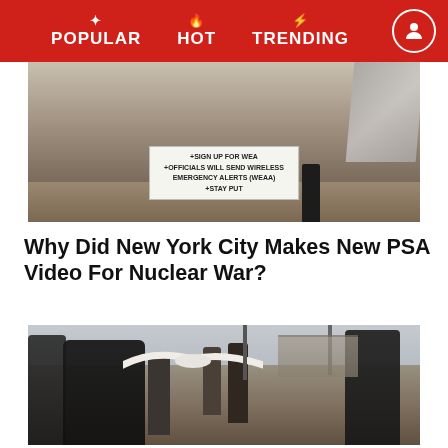POPULAR  HOT  TRENDING
[Figure (photo): Screenshot of a PSA video showing a sign with emergency instructions including '+SIGN UP FOR WEA', '+OFFICIALS WILL SEND WIRELESS EMERGENCY ALERTS (WEAA)', '+STAY PUT' against a room backdrop with a person standing]
Why Did New York City Makes New PSA Video For Nuclear War?
[Figure (photo): Outdoor crowd scene showing people in a public square or plaza, including a woman with dark hair and sunglasses eating something in the foreground, and an elderly person with a scarf, with a large white bird (seagull) flying in the middle, lamposts and buildings in background]